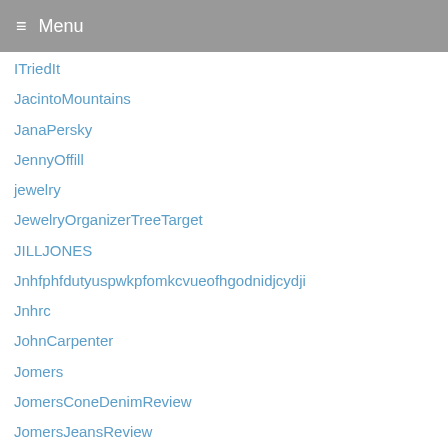Menu
ITriedIt
JacintoMountains
JanaPersky
JennyOffill
jewelry
JewelryOrganizerTreeTarget
JILLJONES
Jnhfphfdutyuspwkpfomkcvueofhgodnidjcydji
Jnhrc
JohnCarpenter
Jomers
JomersConeDenimReview
JomersJeansReview
Jonaxel
JustForFun
K
KomalCona Story Home Report